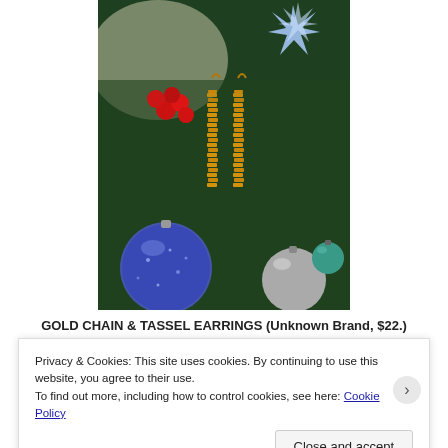[Figure (photo): Gold chain and tassel earrings hanging on a Christmas tree decorated with red berries, blue and silver ornament balls, and crystal decorations.]
GOLD CHAIN & TASSEL EARRINGS (Unknown Brand, $22.)
[Figure (screenshot): Partial view of a second product image with dark blue background and italic white text.]
Privacy & Cookies: This site uses cookies. By continuing to use this website, you agree to their use.
To find out more, including how to control cookies, see here: Cookie Policy
Close and accept